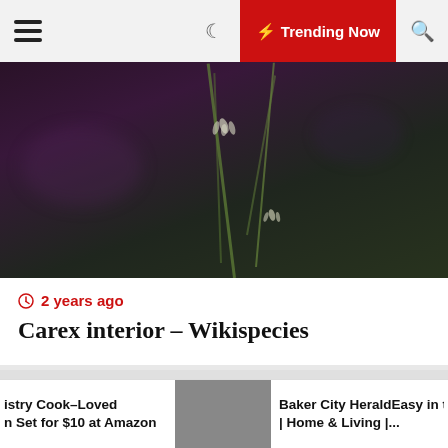≡  🌙  ⚡ Trending Now  🔍
[Figure (photo): Close-up photo of Carex interior plant with thin green stems and small white flowers against a dark purple-brown background]
2 years ago
Carex interior – Wikispecies
[Figure (photo): Gray placeholder image rectangle]
istry Cook–Loved n Set for $10 at Amazon
Baker City HeraldEasy in the Kit | Home & Living |...